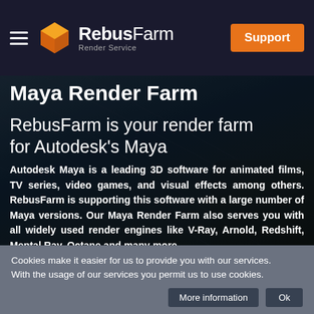RebusFarm Render Service — Support
Maya Render Farm
RebusFarm is your render farm for Autodesk's Maya
Autodesk Maya is a leading 3D software for animated films, TV series, video games, and visual effects among others. RebusFarm is supporting this software with a large number of Maya versions. Our Maya Render Farm also serves you with all widely used render engines like V-Ray, Arnold, Redshift, Mental Ray, Octane and many more.
Cookies make it easier for us to provide you with our services. With the usage of our services you permit us to use cookies.